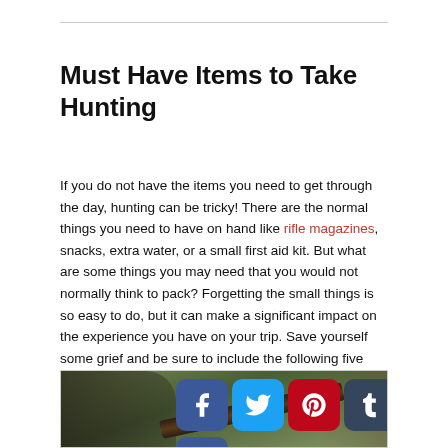Must Have Items to Take Hunting
If you do not have the items you need to get through the day, hunting can be tricky! There are the normal things you need to have on hand like rifle magazines, snacks, extra water, or a small first aid kit. But what are some things you may need that you would not normally think to pack? Forgetting the small things is so easy to do, but it can make a significant impact on the experience you have on your trip. Save yourself some grief and be sure to include the following five things in your hunting pack.
[Figure (photo): Photo of a hunter in camouflage gear holding a rifle outdoors in a wooded area, with social media share buttons (Facebook, Twitter, Pinterest, Tumblr, Reddit, and a plus/share button) overlaid on the image.]